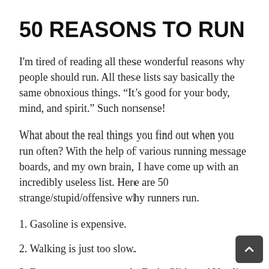50 REASONS TO RUN
I'm tired of reading all these wonderful reasons why people should run. All these lists say basically the same obnoxious things. “It's good for your body, mind, and spirit.” Such nonsense!
What about the real things you find out when you run often? With the help of various running message boards, and my own brain, I have come up with an incredibly useless list. Here are 50 strange/stupid/offensive why runners run.
1. Gasoline is expensive.
2. Walking is just too slow.
3. Because you get to apply Body Glide and Vaseline to your nooks and crannies.